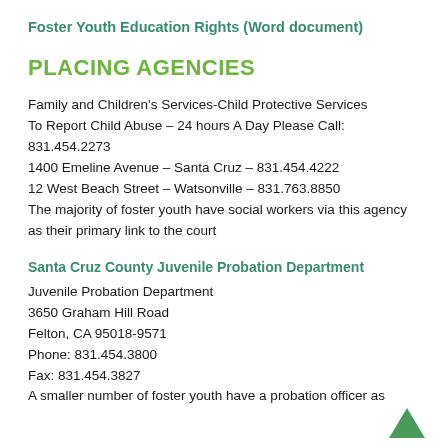Foster Youth Education Rights (Word document)
PLACING AGENCIES
Family and Children's Services-Child Protective Services
To Report Child Abuse – 24 hours A Day Please Call:
831.454.2273
1400 Emeline Avenue – Santa Cruz – 831.454.4222
12 West Beach Street – Watsonville – 831.763.8850
The majority of foster youth have social workers via this agency as their primary link to the court
Santa Cruz County Juvenile Probation Department
Juvenile Probation Department
3650 Graham Hill Road
Felton, CA 95018-9571
Phone: 831.454.3800
Fax: 831.454.3827
A smaller number of foster youth have a probation officer as